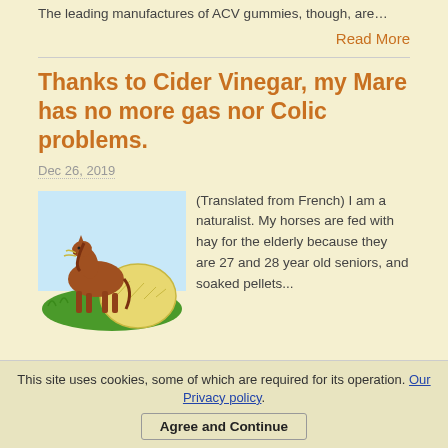The leading manufactures of ACV gummies, though, are…
Read More
Thanks to Cider Vinegar, my Mare has no more gas nor Colic problems.
Dec 26, 2019
[Figure (illustration): Illustration of a brown horse standing next to a large hay bale on green grass with a light blue sky background]
(Translated from French) I am a naturalist. My horses are fed with hay for the elderly because they are 27 and 28 year old seniors, and soaked pellets...
This site uses cookies, some of which are required for its operation. Our Privacy policy.
Agree and Continue